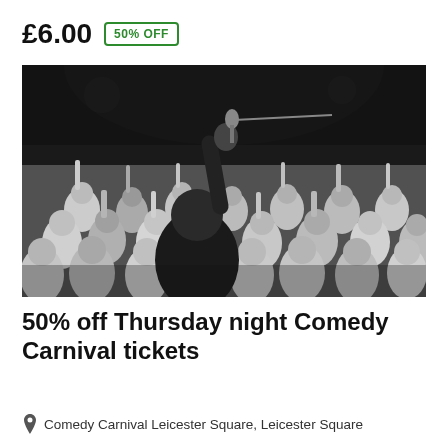£6.00  50% OFF
[Figure (photo): Black and white photo of a comedian on stage seen from behind, holding a microphone up in the air, with a crowd of audience members cheering with hands raised]
50% off Thursday night Comedy Carnival tickets
Comedy Carnival Leicester Square, Leicester Square